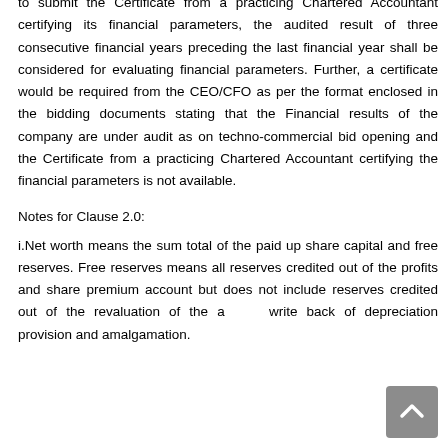to submit the Certificate from a practicing Chartered Accountant certifying its financial parameters, the audited result of three consecutive financial years preceding the last financial year shall be considered for evaluating financial parameters. Further, a certificate would be required from the CEO/CFO as per the format enclosed in the bidding documents stating that the Financial results of the company are under audit as on techno-commercial bid opening and the Certificate from a practicing Chartered Accountant certifying the financial parameters is not available.
Notes for Clause 2.0:
i.Net worth means the sum total of the paid up share capital and free reserves. Free reserves means all reserves credited out of the profits and share premium account but does not include reserves credited out of the revaluation of the assets, write back of depreciation provision and amalgamation.